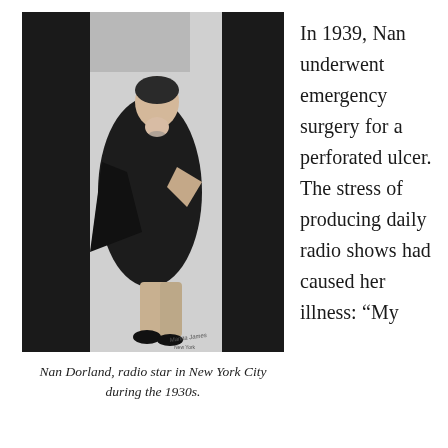[Figure (photo): Black and white photograph of Nan Dorland, a radio star, posing dynamically between dark geometric shapes. She wears a dark cape/coat and heels. A photographer's studio stamp is visible in the lower right corner of the photo.]
Nan Dorland, radio star in New York City during the 1930s.
In 1939, Nan underwent emergency surgery for a perforated ulcer. The stress of producing daily radio shows had caused her illness: “My